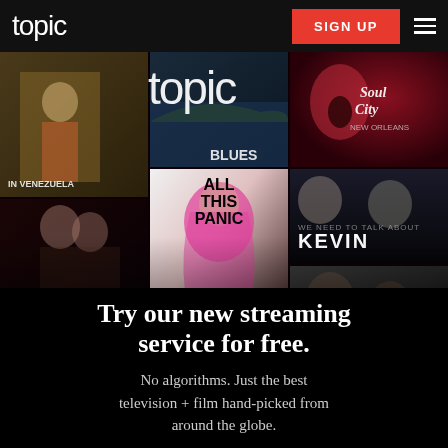topic | SIGN UP
[Figure (screenshot): Topic streaming service hero collage showing movie/TV show posters: In Venezuela, Blues (partially visible), Soul City New Orleans, All This Panic, We Need to Talk About Kevin, Moneymish, Sakho Mangan, An Ordinary Woman — overlaid with 'topic' logo text]
Try our new streaming service for free.
No algorithms. Just the best television + film hand-picked from around the globe.